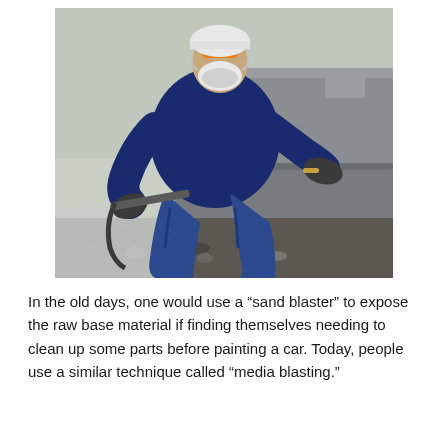[Figure (photo): A person wearing a blue sweatshirt, jeans, dark gloves, and a white respirator/mask crouches beside a car, using a media blasting or sand blasting tool on the lower body panel of the vehicle. The ground is covered with debris and plastic sheeting.]
In the old days, one would use a “sand blaster” to expose the raw base material if finding themselves needing to clean up some parts before painting a car. Today, people use a similar technique called “media blasting.”